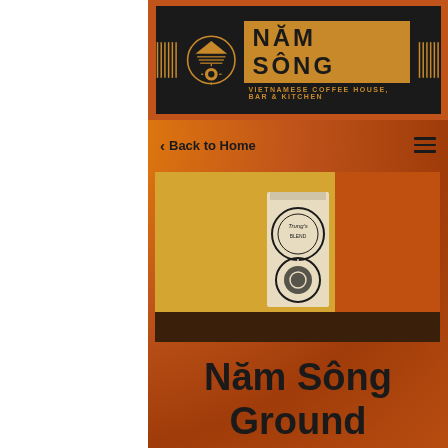NĂM SÔNG — VIETNAMESE COFFEE HOUSE, BAR & KITCHEN
< Back to Home
[Figure (photo): A small bag/box of Năm Sông brand Vietnamese ground coffee with circular logo labels, standing upright on a dark wooden surface against an orange textured wall background]
Năm Sông Ground